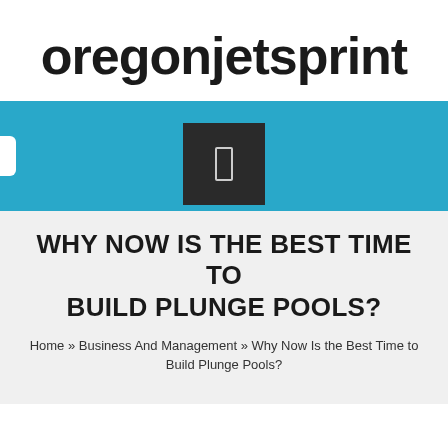oregonjetsprint
[Figure (logo): Teal/cyan banner with a dark square icon containing a small white rectangle (USB or port icon), with a white tab on the left edge]
WHY NOW IS THE BEST TIME TO BUILD PLUNGE POOLS?
Home » Business And Management » Why Now Is the Best Time to Build Plunge Pools?